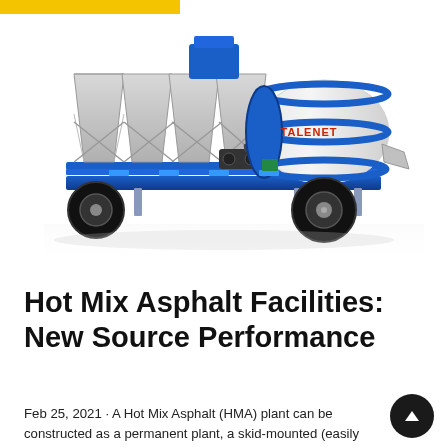[Figure (photo): A mobile hot mix asphalt plant / concrete mixer machine on a wheeled trailer frame. The machine is predominantly blue and grey/white, featuring a large cylindrical drum mixer with 'TALENET' branding, aggregate hoppers on the left side, and large black tires. The unit appears to be a portable batching plant.]
Hot Mix Asphalt Facilities: New Source Performance
Feb 25, 2021 · A Hot Mix Asphalt (HMA) plant can be constructed as a permanent plant, a skid-mounted (easily relocated) plant, or a portable